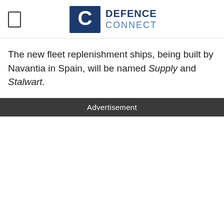Defence Connect
The new fleet replenishment ships, being built by Navantia in Spain, will be named Supply and Stalwart.
Advertisement